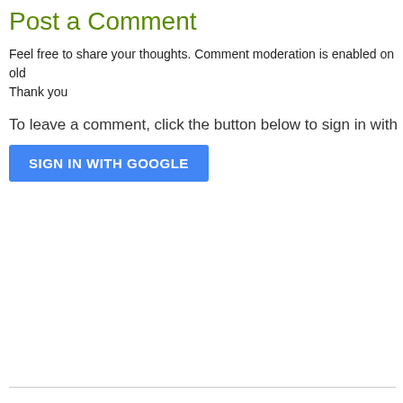Post a Comment
Feel free to share your thoughts. Comment moderation is enabled on old
Thank you
To leave a comment, click the button below to sign in with
[Figure (screenshot): Blue 'SIGN IN WITH GOOGLE' button]
Newer Post
Subscribe to: Po